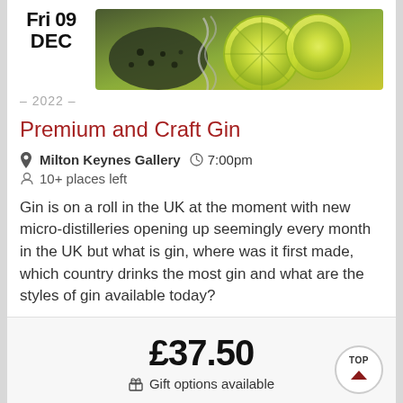Fri 09 DEC
[Figure (photo): Close-up photo of lemon/lime slices and gin botanicals]
– 2022 –
Premium and Craft Gin
Milton Keynes Gallery  7:00pm
10+ places left
Gin is on a roll in the UK at the moment with new micro-distilleries opening up seemingly every month in the UK but what is gin, where was it first made, which country drinks the most gin and what are the styles of gin available today?
£37.50
Gift options available